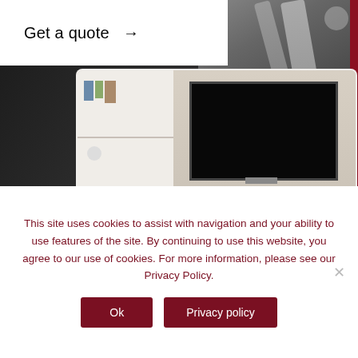[Figure (screenshot): Insurance website screenshot showing a 'Get a quote' button with an arrow on a white background, overlaid on a dark background showing a car interior and a living room photo with people watching TV. A red accent block is visible on the right.]
This site uses cookies to assist with navigation and your ability to use features of the site. By continuing to use this website, you agree to our use of cookies. For more information, please see our Privacy Policy.